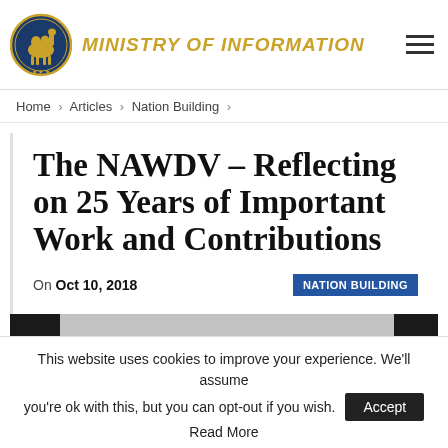MINISTRY OF INFORMATION
Home > Articles > Nation Building >
The NAWDV – Reflecting on 25 Years of Important Work and Contributions
On Oct 10, 2018   NATION BUILDING
[Figure (photo): Partial image strip with black panels on left and right sides]
This website uses cookies to improve your experience. We'll assume you're ok with this, but you can opt-out if you wish. Accept Read More